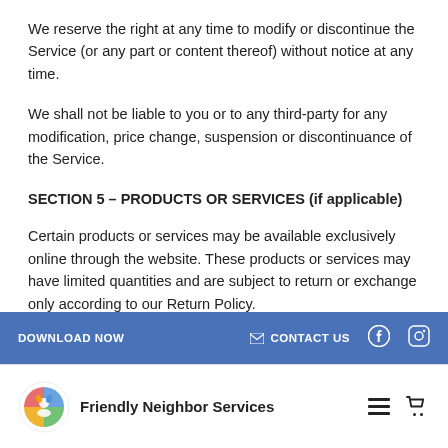We reserve the right at any time to modify or discontinue the Service (or any part or content thereof) without notice at any time.
We shall not be liable to you or to any third-party for any modification, price change, suspension or discontinuance of the Service.
SECTION 5 – PRODUCTS OR SERVICES (if applicable)
Certain products or services may be available exclusively online through the website. These products or services may have limited quantities and are subject to return or exchange only according to our Return Policy.
DOWNLOAD NOW   CONTACT US   [Facebook] [Instagram]
Friendly Neighbor Services